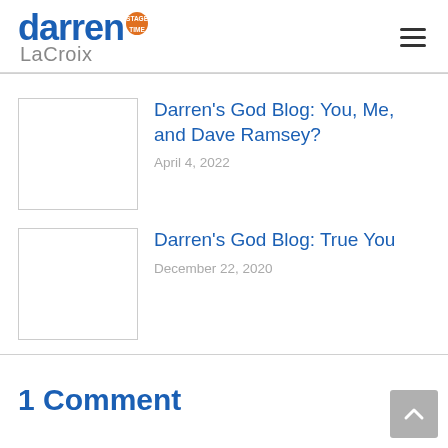darren STAGE TIME LaCroix
Darren's God Blog: You, Me, and Dave Ramsey?
April 4, 2022
Darren's God Blog: True You
December 22, 2020
1 Comment